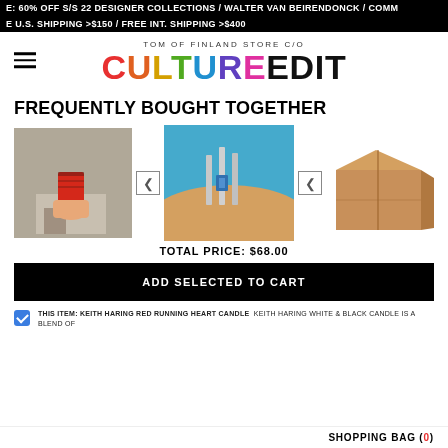E: 60% OFF S/S 22 DESIGNER COLLECTIONS / WALTER VAN BEIRENDONCK / COMM
E U.S. SHIPPING >$150 / FREE INT. SHIPPING >$400
TOM OF FINLAND STORE C/O CULTUREEDIT
FREQUENTLY BOUGHT TOGETHER
[Figure (photo): Three product photos in a row: 1) A hand holding a red patterned candle on a concrete pedestal, 2) An artistic photo with metallic structures on a sunlit surface, 3) A cardboard box. Between images are checkbox-style selector buttons.]
TOTAL PRICE: $68.00
ADD SELECTED TO CART
THIS ITEM: KEITH HARING RED RUNNING HEART CANDLE  KEITH HARING WHITE & BLACK CANDLE IS A BLEND OF
SHOPPING BAG (0)